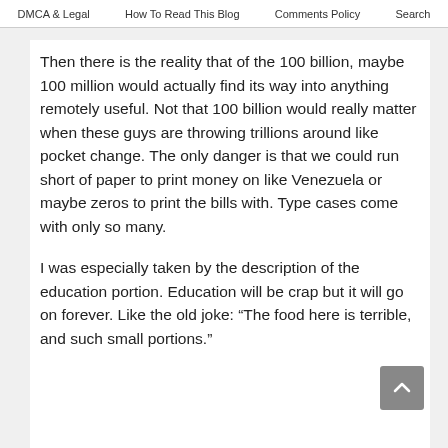DMCA & Legal   How To Read This Blog   Comments Policy   Search
Then there is the reality that of the 100 billion, maybe 100 million would actually find its way into anything remotely useful. Not that 100 billion would really matter when these guys are throwing trillions around like pocket change. The only danger is that we could run short of paper to print money on like Venezuela or maybe zeros to print the bills with. Type cases come with only so many.
I was especially taken by the description of the education portion. Education will be crap but it will go on forever. Like the old joke: “The food here is terrible, and such small portions.”